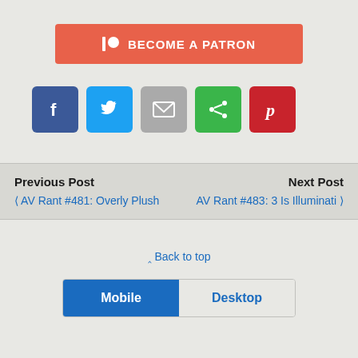[Figure (other): Patreon button with logo icon and text BECOME A PATRON on salmon/coral background]
[Figure (other): Row of social share icon buttons: Facebook (blue), Twitter (light blue), Email (grey), Share (green), Pinterest (red)]
Previous Post
Next Post
< AV Rant #481: Overly Plush
AV Rant #483: 3 Is Illuminati >
^ Back to top
[Figure (other): Mobile/Desktop toggle button bar with Mobile selected in blue and Desktop unselected]